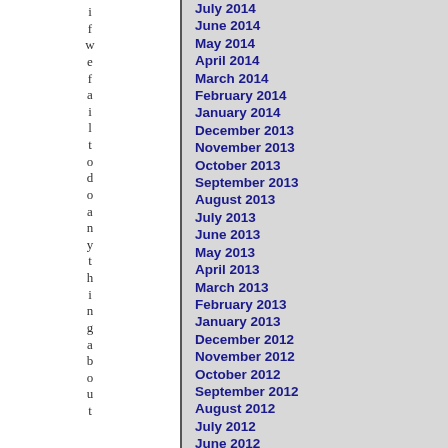i f w e f a i l t o d o a n y t h i n g a b o u t
July 2014
June 2014
May 2014
April 2014
March 2014
February 2014
January 2014
December 2013
November 2013
October 2013
September 2013
August 2013
July 2013
June 2013
May 2013
April 2013
March 2013
February 2013
January 2013
December 2012
November 2012
October 2012
September 2012
August 2012
July 2012
June 2012
May 2012
April 2012
March 2012
February 2012
January 2012
December 2011